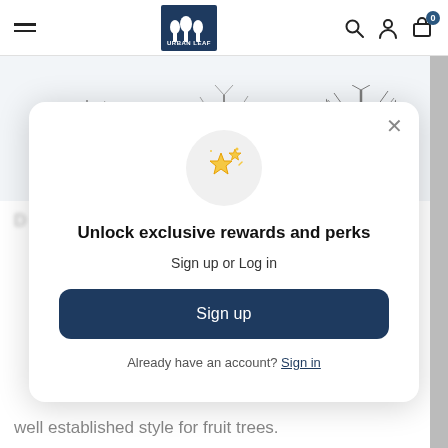Urban Leaf — navigation bar with hamburger menu, logo, search, account, cart (0)
[Figure (illustration): Three bare trees showing growth stages: First year (small), Second year (medium), Third year (tallest). Each labeled with a red dot and text below. Light blue-grey background.]
D... ...d ...t f... C...ff...d... F... ...d ...f ...
[Figure (other): Modal popup: sparkle stars icon in grey circle. Title: Unlock exclusive rewards and perks. Subtitle: Sign up or Log in. Sign up button (dark navy). Footer: Already have an account? Sign in link.]
well established style for fruit trees.